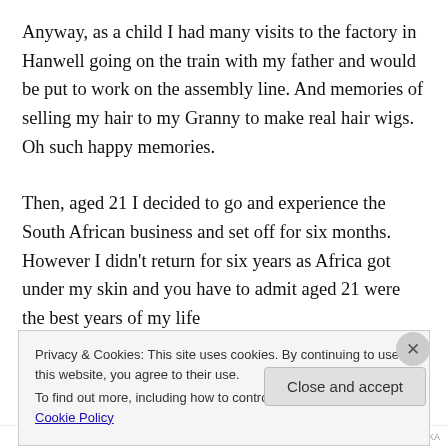Anyway, as a child I had many visits to the factory in Hanwell going on the train with my father and would be put to work on the assembly line. And memories of selling my hair to my Granny to make real hair wigs. Oh such happy memories.
Then, aged 21 I decided to go and experience the South African business and set off for six months. However I didn't return for six years as Africa got under my skin and you have to admit aged 21 were the best years of my life
Privacy & Cookies: This site uses cookies. By continuing to use this website, you agree to their use.
To find out more, including how to control cookies, see here: Cookie Policy
Close and accept